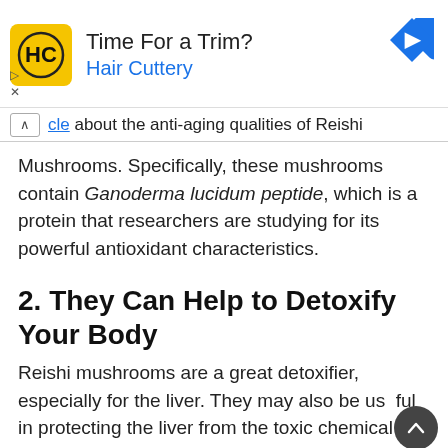[Figure (other): Advertisement banner for Hair Cuttery salon. Shows HC logo in yellow square, text 'Time For a Trim?' and 'Hair Cuttery' in blue, with a blue diamond navigation icon on the right.]
cle about the anti-aging qualities of Reishi Mushrooms.  Specifically, these mushrooms contain Ganoderma lucidum peptide, which is a protein that researchers are studying for its powerful antioxidant characteristics.
2. They Can Help to Detoxify Your Body
Reishi mushrooms are a great detoxifier, especially for the liver.  They may also be useful in protecting the liver from the toxic chemicals that...